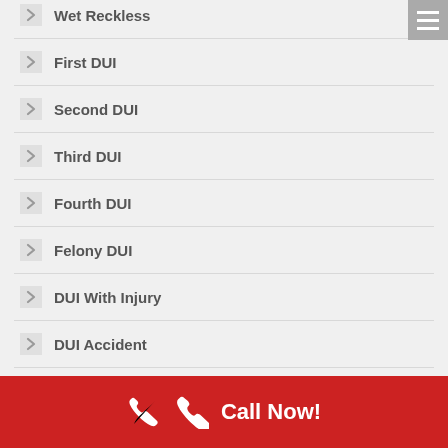Wet Reckless
First DUI
Second DUI
Third DUI
Fourth DUI
Felony DUI
DUI With Injury
DUI Accident
DUI Warrants
Call Now!